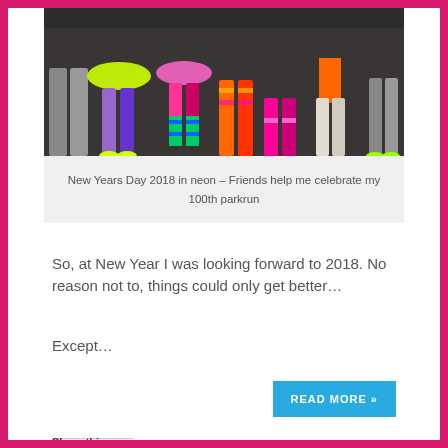[Figure (photo): Group of runners wearing colorful neon costumes — neon tutus, striped knee socks, bright leggings — photographed from the waist down on a dark pavement surface.]
New Years Day 2018 in neon – Friends help me celebrate my 100th parkrun
So, at New Year I was looking forward to 2018. No reason not to, things could only get better…
Except…
READ MORE »
Share this: